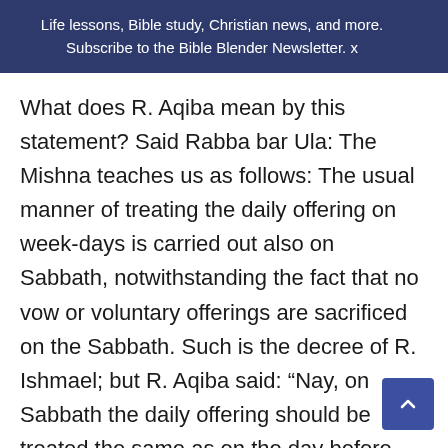Life lessons, Bible study, Christian news, and more. Subscribe to the Bible Blender Newsletter.
What does R. Aqiba mean by this statement? Said Rabba bar Ula: The Mishna teaches us as follows: The usual manner of treating the daily offering on week-days is carried out also on Sabbath, notwithstanding the fact that no vow or voluntary offerings are sacrificed on the Sabbath. Such is the decree of R. Ishmael; but R. Aqiba said: “Nay, on Sabbath the daily offering should be treated the same as on the day before Passover; i.e., it should be sacrificed an hour sooner, and for the very reason that there are no vow